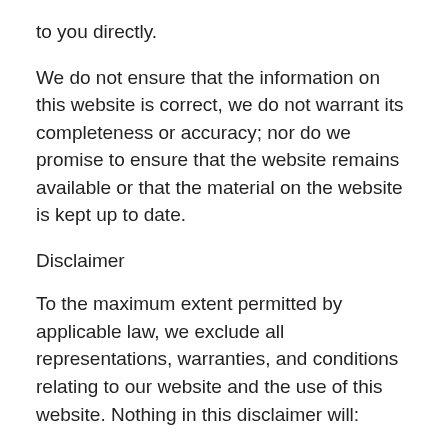to you directly.
We do not ensure that the information on this website is correct, we do not warrant its completeness or accuracy; nor do we promise to ensure that the website remains available or that the material on the website is kept up to date.
Disclaimer
To the maximum extent permitted by applicable law, we exclude all representations, warranties, and conditions relating to our website and the use of this website. Nothing in this disclaimer will:
limit or exclude our or your liability for death or personal injury;
limit or exclude our or your liability for fraud